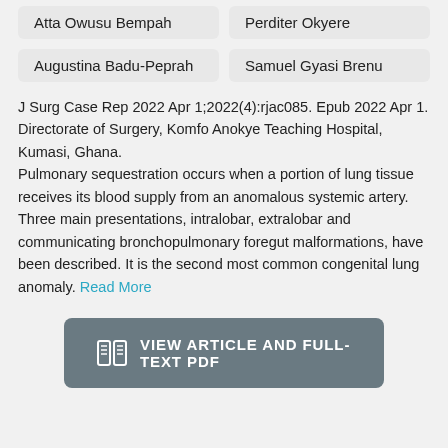Atta Owusu Bempah
Perditer Okyere
Augustina Badu-Peprah
Samuel Gyasi Brenu
J Surg Case Rep 2022 Apr 1;2022(4):rjac085. Epub 2022 Apr 1.
Directorate of Surgery, Komfo Anokye Teaching Hospital, Kumasi, Ghana.
Pulmonary sequestration occurs when a portion of lung tissue receives its blood supply from an anomalous systemic artery. Three main presentations, intralobar, extralobar and communicating bronchopulmonary foregut malformations, have been described. It is the second most common congenital lung anomaly. Read More
VIEW ARTICLE AND FULL-TEXT PDF